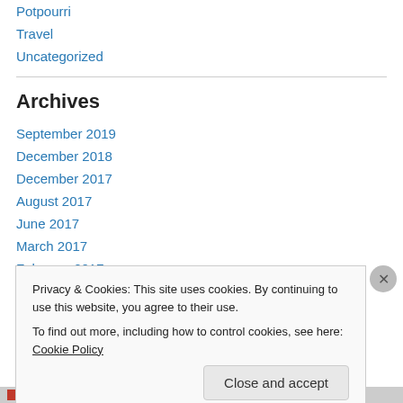Potpourri
Travel
Uncategorized
Archives
September 2019
December 2018
December 2017
August 2017
June 2017
March 2017
February 2017
Privacy & Cookies: This site uses cookies. By continuing to use this website, you agree to their use. To find out more, including how to control cookies, see here: Cookie Policy
Close and accept